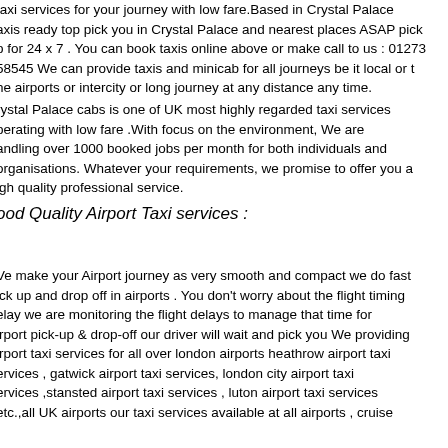taxi services for your journey with low fare.Based in Crystal Palace axis ready top pick you in Crystal Palace and nearest places ASAP pick p for 24x7 . You can book taxis online above or make call to us : 01273 58545 We can provide taxis and minicab for all journeys be it local or t he airports or intercity or long journey at any distance any time.
rystal Palace cabs is one of UK most highly regarded taxi services perating with low fare .With focus on the environment, We are andling over 1000 booked jobs per month for both individuals and organisations. Whatever your requirements, we promise to offer you a igh quality professional service.
ood Quality Airport Taxi services :
Ve make your Airport journey as very smooth and compact we do fast ick up and drop off in airports . You don't worry about the flight timing elay we are monitoring the flight delays to manage that time for irport pick-up & drop-off our driver will wait and pick you We providing irport taxi services for all over london airports heathrow airport taxi ervices , gatwick airport taxi services, london city airport taxi ervices ,stansted airport taxi services , luton airport taxi services etc.,all UK airports our taxi services available at all airports , cruise